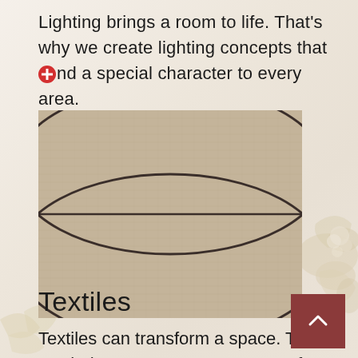Lighting brings a room to life. That's why we create lighting concepts that lend a special character to every area.
[Figure (photo): Close-up photo of a beige/taupe textured panel or fabric with two large dark curved oval/ellipse shapes forming a geometric pattern. A horizontal dividing line splits the panel into two halves.]
Textiles
Textiles can transform a space. They catch the eye to create a sense of